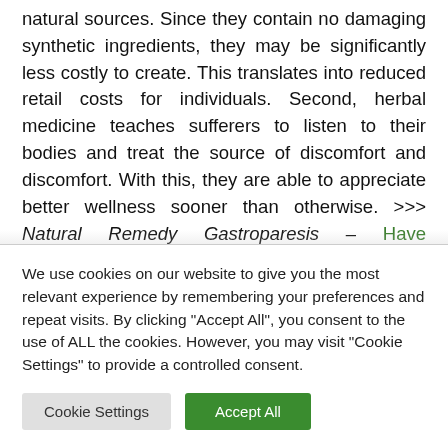natural sources. Since they contain no damaging synthetic ingredients, they may be significantly less costly to create. This translates into reduced retail costs for individuals. Second, herbal medicine teaches sufferers to listen to their bodies and treat the source of discomfort and discomfort. With this, they are able to appreciate better wellness sooner than otherwise. >>> Natural Remedy Gastroparesis – Have Specialised Guidance Or Alternatively Read On>>> The other advantage of herbal
We use cookies on our website to give you the most relevant experience by remembering your preferences and repeat visits. By clicking "Accept All", you consent to the use of ALL the cookies. However, you may visit "Cookie Settings" to provide a controlled consent.